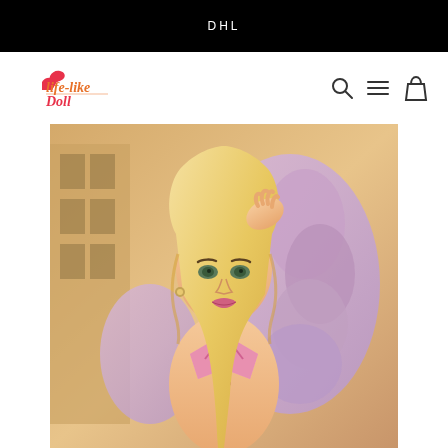DHL
[Figure (logo): Life-like Doll logo with red script text and silhouette figure]
[Figure (photo): A life-like doll with long blonde hair, wearing a pink bikini top and purple feathery jacket, posed outdoors in front of a modern building]